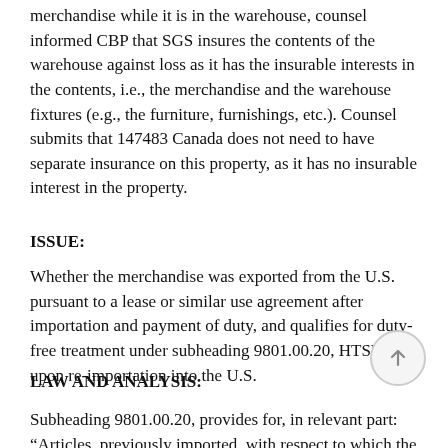merchandise while it is in the warehouse, counsel informed CBP that SGS insures the contents of the warehouse against loss as it has the insurable interests in the contents, i.e., the merchandise and the warehouse fixtures (e.g., the furniture, furnishings, etc.). Counsel submits that 147483 Canada does not need to have separate insurance on this property, as it has no insurable interest in the property.
ISSUE:
Whether the merchandise was exported from the U.S. pursuant to a lease or similar use agreement after importation and payment of duty, and qualifies for duty-free treatment under subheading 9801.00.20, HTSUS, upon re-importation into the U.S.
LAW AND ANALYSIS:
Subheading 9801.00.20, provides for, in relevant part: “Articles, previously imported, with respect to which the duty